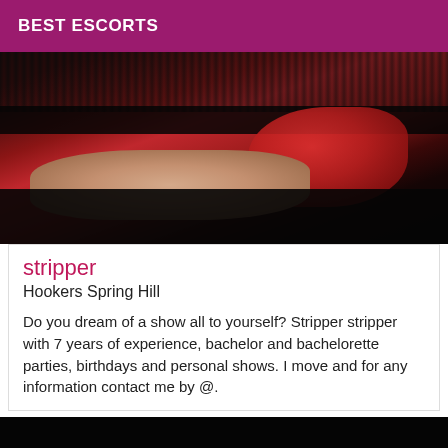BEST ESCORTS
[Figure (photo): Close-up photo of a person wearing red satin lingerie and black lace stockings, lying on a dark background.]
stripper
Hookers Spring Hill
Do you dream of a show all to yourself? Stripper stripper with 7 years of experience, bachelor and bachelorette parties, birthdays and personal shows. I move and for any information contact me by @.
[Figure (photo): Dark/black photo, mostly black, bottom of the page.]